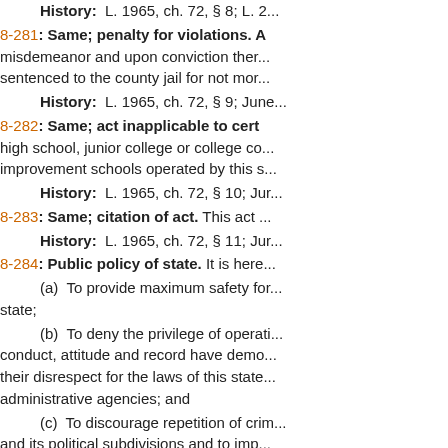History: L. 1965, ch. 72, § 8; L. 2...
8-281: Same; penalty for violations. A...
misdemeanor and upon conviction ther... sentenced to the county jail for not mor...
History: L. 1965, ch. 72, § 9; June...
8-282: Same; act inapplicable to cert...
high school, junior college or college co... improvement schools operated by this s...
History: L. 1965, ch. 72, § 10; Jur...
8-283: Same; citation of act. This act...
History: L. 1965, ch. 72, § 11; Jur...
8-284: Public policy of state. It is here...
(a) To provide maximum safety for... state;
(b) To deny the privilege of operati... conduct, attitude and record have demo... their disrespect for the laws of this state... administrative agencies; and
(c) To discourage repetition of crim... and its political subdivisions and to imp... motor vehicles upon habitual violators v...
History: L. 1972, ch. 32, § 1; July...
8-285: "Habitual violator" defined; ot...
used in this act, the words and phrases... meanings ascribed to them therein. The...